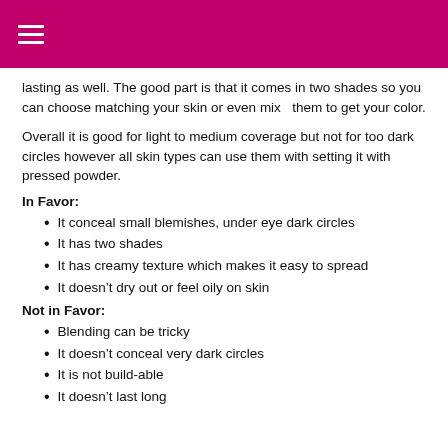lasting as well. The good part is that it comes in two shades so you can choose matching your skin or even mix  them to get your color.
Overall it is good for light to medium coverage but not for too dark circles however all skin types can use them with setting it with pressed powder.
In Favor:
It conceal small blemishes, under eye dark circles
It has two shades
It has creamy texture which makes it easy to spread
It doesn’t dry out or feel oily on skin
Not in Favor:
Blending can be tricky
It doesn’t conceal very dark circles
It is not build-able
It doesn’t last long